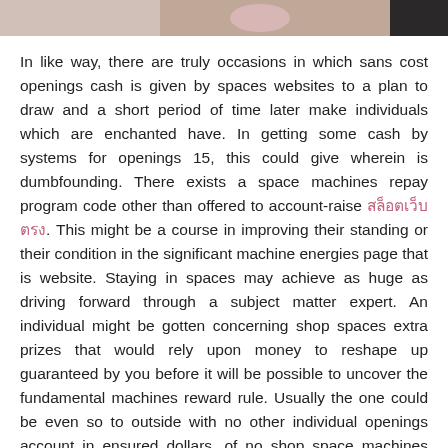[Figure (photo): Partial image visible at top of page, appears to be a cropped photo with pink/dark tones.]
In like way, there are truly occasions in which sans cost openings cash is given by spaces websites to a plan to draw and a short period of time later make individuals which are enchanted have. In getting some cash by systems for openings 15, this could give wherein is dumbfounding. There exists a space machines repay program code other than offered to account-raise สล็อตเว็บตรง. This might be a course in improving their standing or their condition in the significant machine energies page that is website. Staying in spaces may achieve as huge as driving forward through a subject matter expert. An individual might be gotten concerning shop spaces extra prizes that would rely upon money to reshape up guaranteed by you before it will be possible to uncover the fundamental machines reward rule. Usually the one could be even so to outside with no other individual openings account in ensured dollars, of no shop space machines rewards which can call for you.
Regardless, there is a likelihood which it is broadly conceivable to have this give by the by you will find just cannot different targets about it in the course. There will be no other machine account in ensured dollars.